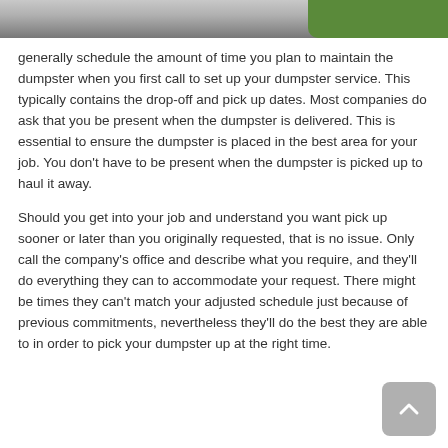[Figure (photo): Top portion of a photo showing a road/driveway and green grass, partially cropped]
generally schedule the amount of time you plan to maintain the dumpster when you first call to set up your dumpster service. This typically contains the drop-off and pick up dates. Most companies do ask that you be present when the dumpster is delivered. This is essential to ensure the dumpster is placed in the best area for your job. You don't have to be present when the dumpster is picked up to haul it away.
Should you get into your job and understand you want pick up sooner or later than you originally requested, that is no issue. Only call the company's office and describe what you require, and they'll do everything they can to accommodate your request. There might be times they can't match your adjusted schedule just because of previous commitments, nevertheless they'll do the best they are able to in order to pick your dumpster up at the right time.